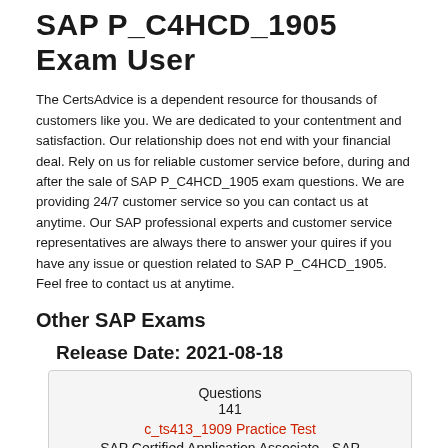SAP P_C4HCD_1905 Exam User
The CertsAdvice is a dependent resource for thousands of customers like you. We are dedicated to your contentment and satisfaction. Our relationship does not end with your financial deal. Rely on us for reliable customer service before, during and after the sale of SAP P_C4HCD_1905 exam questions. We are providing 24/7 customer service so you can contact us at anytime. Our SAP professional experts and customer service representatives are always there to answer your quires if you have any issue or question related to SAP P_C4HCD_1905. Feel free to contact us at anytime.
Other SAP Exams
Release Date: 2021-08-18
| Questions |  |
| --- | --- |
| 141 |  |
| c_ts413_1909 Practice Test |  |
| SAP Certified Application Associate - SAP S/4HANA Asset Management |  |